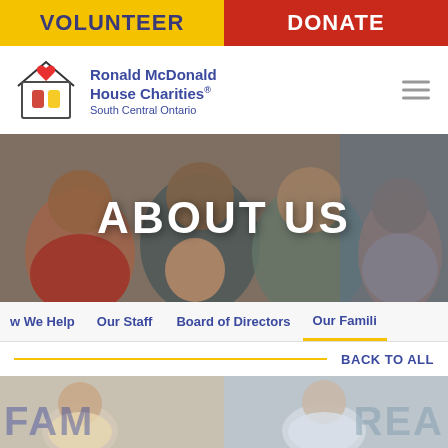VOLUNTEER | DONATE
[Figure (logo): Ronald McDonald House Charities South Central Ontario logo with house icon]
Ronald McDonald House Charities® South Central Ontario
[Figure (photo): Family photo with parents and children — About Us hero banner]
ABOUT US
How We Help  Our Staff  Board of Directors  Our Famili…
BACK TO ALL
[Figure (photo): Two side-by-side photos of families at the bottom of the page]